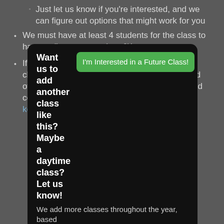Just let us know if you're interested, and we can figure out options that might work for you
We must have at least 4 students for the class to happen (but no more than 6)!
If you are not sure if you "qualify" to take this class or if your camera is right for this, just read over this entire web page before registering and contact Kevin if you have any questions! kevin@kgphotoworkshops.com
You have 6 months to pay, if you use PayPal Credit!
Want us to add another class like this? Maybe a daytime class? Let us know! We add more classes throughout the year, based
I'm Interested in a Future Class!